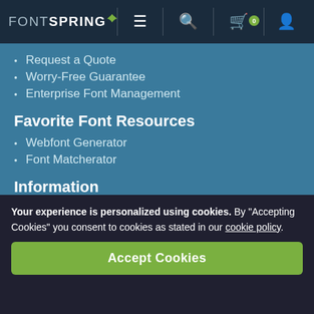FONTSPRING
Request a Quote
Worry-Free Guarantee
Enterprise Font Management
Favorite Font Resources
Webfont Generator
Font Matcherator
Information
Fontspring
300 Lenora St, #515
Seattle, WA 98101, USA
Your experience is personalized using cookies. By “Accepting Cookies” you consent to cookies as stated in our cookie policy.
Accept Cookies